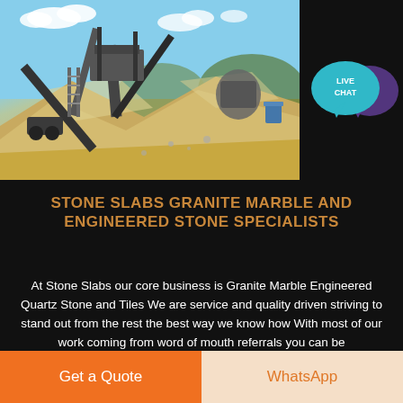[Figure (photo): Quarry/mining site with heavy machinery, conveyor belts, and large piles of sand and stone material under a blue sky]
[Figure (infographic): Live Chat speech bubble icon in teal/cyan color with a purple chat bubble behind it, labeled LIVE CHAT]
STONE SLABS GRANITE MARBLE AND ENGINEERED STONE SPECIALISTS
At Stone Slabs our core business is Granite Marble Engineered Quartz Stone and Tiles We are service and quality driven striving to stand out from the rest the best way we know how With most of our work coming from word of mouth referrals you can be
Get a Quote
WhatsApp